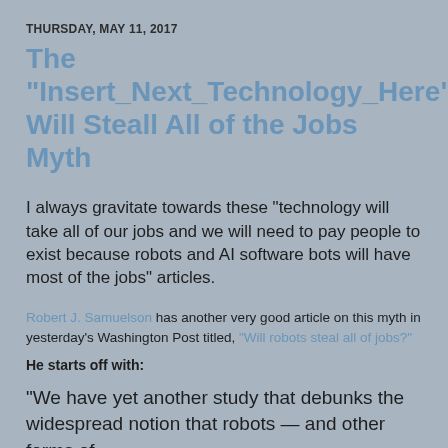THURSDAY, MAY 11, 2017
The "Insert_Next_Technology_Here" Will Steall All of the Jobs Myth
I always gravitate towards these "technology will take all of our jobs and we will need to pay people to exist because robots and AI software bots will have most of the jobs" articles.
Robert J. Samuelson has another very good article on this myth in yesterday's Washington Post titled, "Will robots steal all of jobs?"
He starts off with:
"We have yet another study that debunks the widespread notion that robots — and other forms of